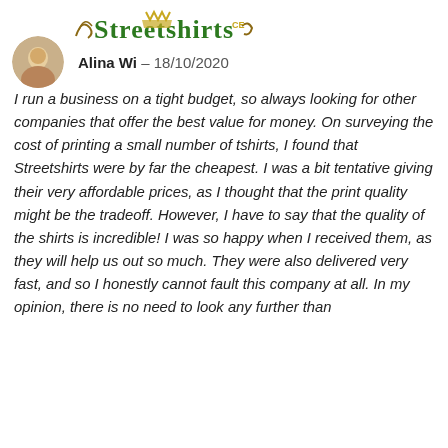[Figure (logo): Streetshirts logo in green and gold medieval/heraldic style font]
Alina Wi – 18/10/2020
I run a business on a tight budget, so always looking for other companies that offer the best value for money. On surveying the cost of printing a small number of tshirts, I found that Streetshirts were by far the cheapest. I was a bit tentative giving their very affordable prices, as I thought that the print quality might be the tradeoff. However, I have to say that the quality of the shirts is incredible! I was so happy when I received them, as they will help us out so much. They were also delivered very fast, and so I honestly cannot fault this company at all. In my opinion, there is no need to look any further than